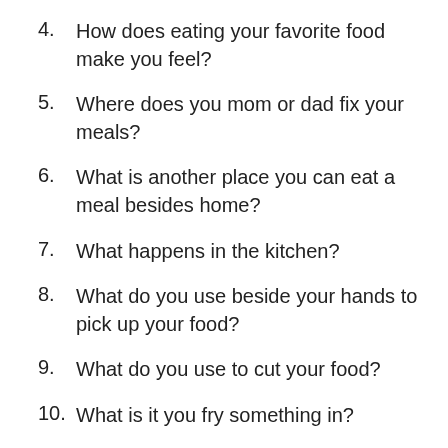4.   How does eating your favorite food make you feel?
5.   Where does you mom or dad fix your meals?
6.   What is another place you can eat a meal besides home?
7.   What happens in the kitchen?
8.   What do you use beside your hands to pick up your food?
9.   What do you use to cut your food?
10.  What is it you fry something in?